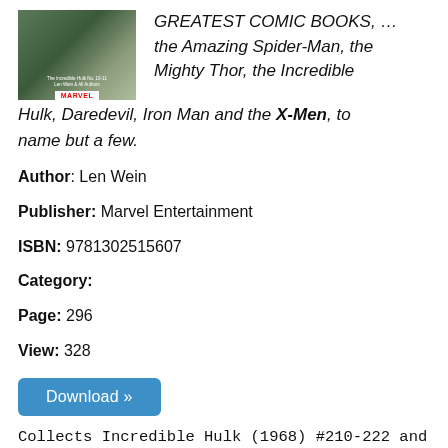[Figure (illustration): Book cover of The Incredible Hulk Marvel comic collection, showing a scene with green tones and Marvel logo at bottom]
GREATEST COMIC BOOKS, … the Amazing Spider-Man, the Mighty Thor, the Incredible Hulk, Daredevil, Iron Man and the X-Men, to name but a few.
Author: Len Wein
Publisher: Marvel Entertainment
ISBN: 9781302515607
Category:
Page: 296
View: 328
Download »
Collects Incredible Hulk (1968) #210-222 and